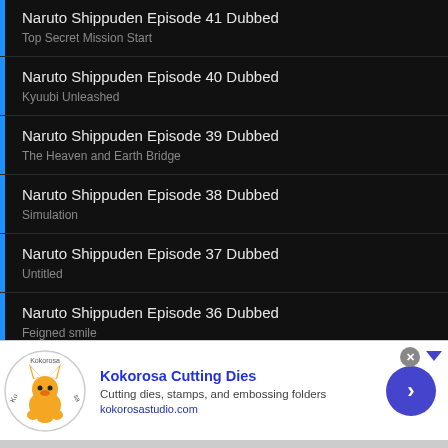Naruto Shippuden Episode 41 Dubbed
Top Secret Mission Start
Naruto Shippuden Episode 40 Dubbed
Kyuubi Unleashed
Naruto Shippuden Episode 39 Dubbed
The Heaven and Earth Bridge
Naruto Shippuden Episode 38 Dubbed
Simulation
Naruto Shippuden Episode 37 Dubbed
Untitled
Naruto Shippuden Episode 36 Dubbed
Feigned smile
[Figure (screenshot): Advertisement banner for Kokorosa Cutting Dies with fox logo, blue title, description text, URL, and blue circular arrow button]